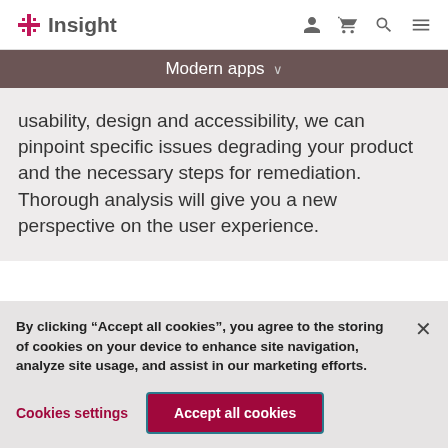Insight
Modern apps
usability, design and accessibility, we can pinpoint specific issues degrading your product and the necessary steps for remediation. Thorough analysis will give you a new perspective on the user experience.
By clicking “Accept all cookies”, you agree to the storing of cookies on your device to enhance site navigation, analyze site usage, and assist in our marketing efforts.
Cookies settings
Accept all cookies